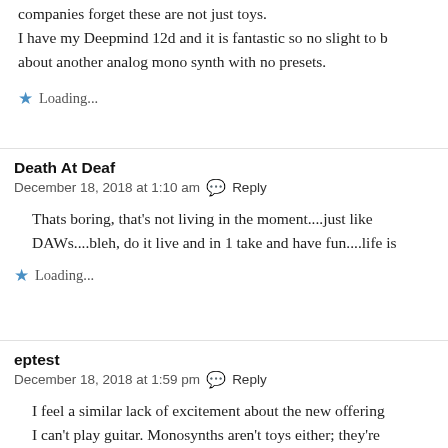companies forget these are not just toys. I have my Deepmind 12d and it is fantastic so no slight to b about another analog mono synth with no presets.
Loading...
Death At Deaf
December 18, 2018 at 1:10 am  Reply
Thats boring, that's not living in the moment....just like DAWs....bleh, do it live and in 1 take and have fun....life is
Loading...
eptest
December 18, 2018 at 1:59 pm  Reply
I feel a similar lack of excitement about the new offering I can't play guitar. Monosynths aren't toys either; they're be recorded. Once you do know a synth architecture you